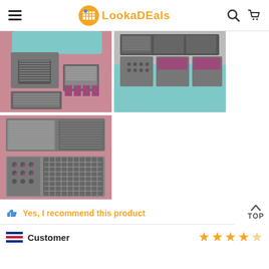LookaDeals
[Figure (photo): Kitchen grater/slicer tool components laid out on pink surface, showing multiple blades and attachments, teal colored body visible at top]
[Figure (photo): Close-up of kitchen grater/slicer with teal colored body and multiple blade attachments shown from different angle]
[Figure (photo): Kitchen grater/slicer tool components showing blade attachments and grids laid flat]
Yes, I recommend this product
Customer
★★★★☆